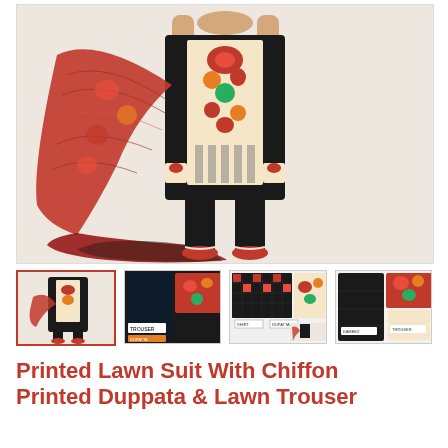[Figure (photo): Main product photo: a woman wearing a black printed lawn suit with colorful floral embroidery and a red printed chiffon dupatta, holding it out. Black trousers, red sandals, light beige background.]
[Figure (photo): Thumbnail 1: Full-length view of model wearing the same outfit.]
[Figure (photo): Thumbnail 2: Flat lay of fabric pieces including dark/black cloth and floral printed sections with labels.]
[Figure (photo): Thumbnail 3: Close-up of the printed lawn fabric pieces with labels showing components.]
[Figure (photo): Thumbnail 4: Packaged set showing all fabric pieces including the black and printed materials.]
Printed Lawn Suit With Chiffon Printed Duppata & Lawn Trouser